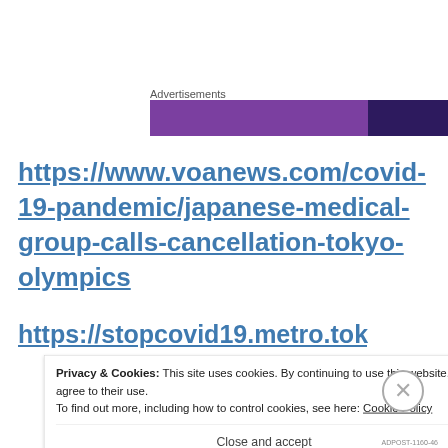Advertisements
[Figure (other): Advertisement banner with purple and dark purple blocks]
https://www.voanews.com/covid-19-pandemic/japanese-medical-group-calls-cancellation-tokyo-olympics
https://stopcovid19.metro.tokyo.lg.jp/en/
Privacy & Cookies: This site uses cookies. By continuing to use this website, you agree to their use.
To find out more, including how to control cookies, see here: Cookie Policy
Close and accept